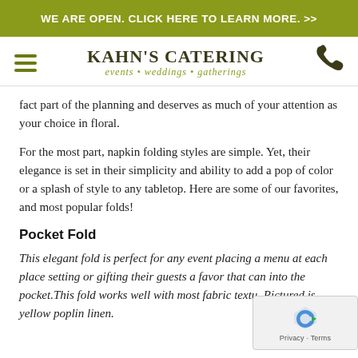WE ARE OPEN. CLICK HERE TO LEARN MORE. >>
[Figure (logo): Kahn's Catering logo with hamburger menu icon and phone icon. Logo reads KAHN'S CATERING with tagline events • weddings • gatherings]
fact part of the planning and deserves as much of your attention as your choice in floral.
For the most part, napkin folding styles are simple. Yet, their elegance is set in their simplicity and ability to add a pop of color or a splash of style to any tabletop. Here are some of our favorites, and most popular folds!
Pocket Fold
This elegant fold is perfect for any event placing a menu at each place setting or gifting their guests a favor that can into the pocket.This fold works well with most fabric textu. Pictured is yellow poplin linen.